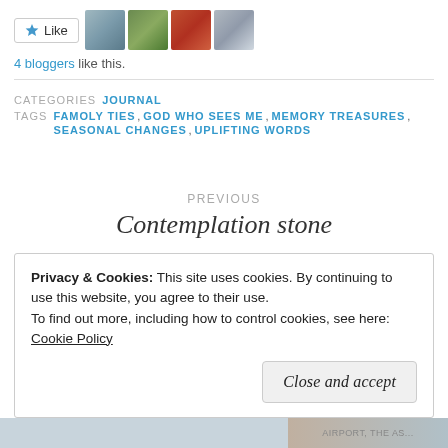[Figure (other): Like button with star icon and four blogger avatar thumbnails]
4 bloggers like this.
CATEGORIES  JOURNAL
TAGS  FAMOLY TIES, GOD WHO SEES ME, MEMORY TREASURES, SEASONAL CHANGES, UPLIFTING WORDS
PREVIOUS
Contemplation stone
Privacy & Cookies: This site uses cookies. By continuing to use this website, you agree to their use.
To find out more, including how to control cookies, see here:
Cookie Policy
Close and accept